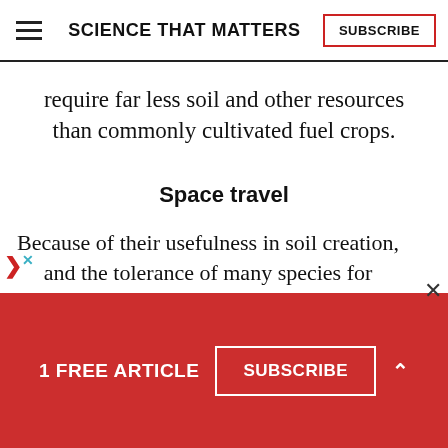SCIENCE THAT MATTERS | SUBSCRIBE
require far less soil and other resources than commonly cultivated fuel crops.
Space travel
Because of their usefulness in soil creation, and the tolerance of many species for radiation, mushrooms could be grown by interstellar voyagers and used
1 FREE ARTICLE  SUBSCRIBE